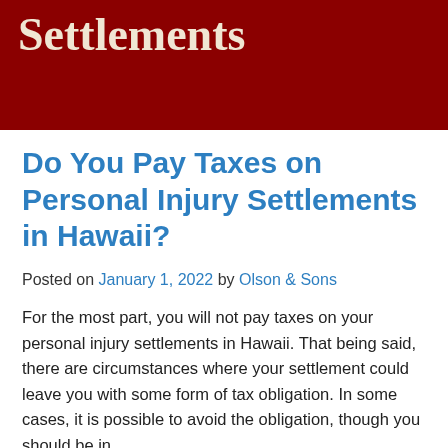Settlements
Do You Pay Taxes on Personal Injury Settlements in Hawaii?
Posted on January 1, 2022 by Olson & Sons
For the most part, you will not pay taxes on your personal injury settlements in Hawaii. That being said, there are circumstances where your settlement could leave you with some form of tax obligation. In some cases, it is possible to avoid the obligation, though you should be in...